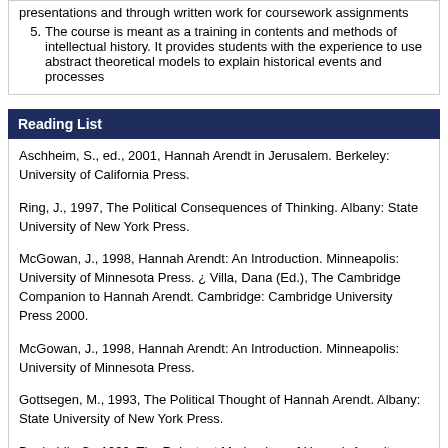presentations and through written work for coursework assignments
5. The course is meant as a training in contents and methods of intellectual history. It provides students with the experience to use abstract theoretical models to explain historical events and processes
Reading List
Aschheim, S., ed., 2001, Hannah Arendt in Jerusalem. Berkeley: University of California Press.
Ring, J., 1997, The Political Consequences of Thinking. Albany: State University of New York Press.
McGowan, J., 1998, Hannah Arendt: An Introduction. Minneapolis: University of Minnesota Press. ¿ Villa, Dana (Ed.), The Cambridge Companion to Hannah Arendt. Cambridge: Cambridge University Press 2000.
McGowan, J., 1998, Hannah Arendt: An Introduction. Minneapolis: University of Minnesota Press.
Gottsegen, M., 1993, The Political Thought of Hannah Arendt. Albany: State University of New York Press.
Benhabib, S., 1996, The Reluctant Modernism of Hannah Arendt. London: Sage Publications.
Arendt, Hannah: On Revolution. New York: Viking Press, 1963. Revised second edition, 1965.
Arendt, Hannah: Rahel Varnhagen: The Life of a Jewish Woman. Revised edition translated into English by Richard and Clara Winston. New York: